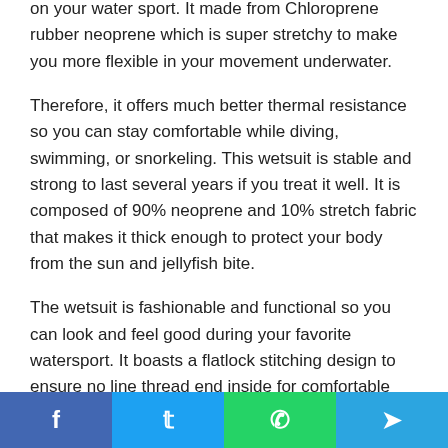on your water sport. It made from Chloroprene rubber neoprene which is super stretchy to make you more flexible in your movement underwater.
Therefore, it offers much better thermal resistance so you can stay comfortable while diving, swimming, or snorkeling. This wetsuit is stable and strong to last several years if you treat it well. It is composed of 90% neoprene and 10% stretch fabric that makes it thick enough to protect your body from the sun and jellyfish bite.
The wetsuit is fashionable and functional so you can look and feel good during your favorite watersport. It boasts a flatlock stitching design to ensure no line thread end inside for comfortable wearing. Better yet, this wetsuit is available in